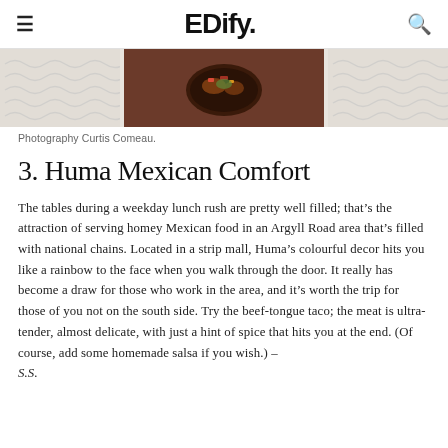EDify.
[Figure (photo): Overhead photo of a Mexican food dish in a dark bowl on a dark wooden surface, flanked by decorative wave-pattern panels on both sides.]
Photography Curtis Comeau.
3. Huma Mexican Comfort
The tables during a weekday lunch rush are pretty well filled; that’s the attraction of serving homey Mexican food in an Argyll Road area that’s filled with national chains. Located in a strip mall, Huma’s colourful decor hits you like a rainbow to the face when you walk through the door. It really has become a draw for those who work in the area, and it’s worth the trip for those of you not on the south side. Try the beef-tongue taco; the meat is ultra-tender, almost delicate, with just a hint of spice that hits you at the end. (Of course, add some homemade salsa if you wish.) – S.S.